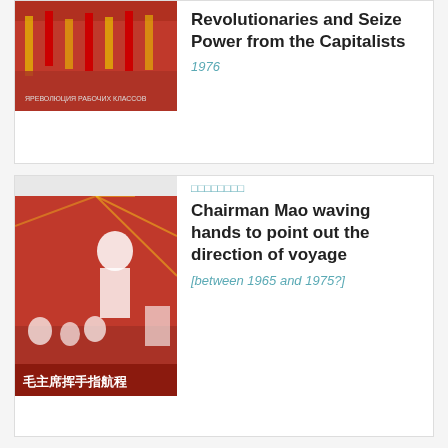[Figure (photo): Chinese revolutionary propaganda poster with red flags and crowds, partial view at top]
Revolutionaries and Seize Power from the Capitalists
1976
□□□□□□□□
[Figure (photo): Chinese propaganda poster: Chairman Mao waving, with red woodcut style art and Chinese text 毛主席挥手指航程]
Chairman Mao waving hands to point out the direction of voyage
[between 1965 and 1975?]
□□□□□□□□□□□□□□□□□□□□□□□□□
□
[Figure (photo): Chinese propaganda poster showing figure in red, partial view at bottom]
Closely follow Chairman